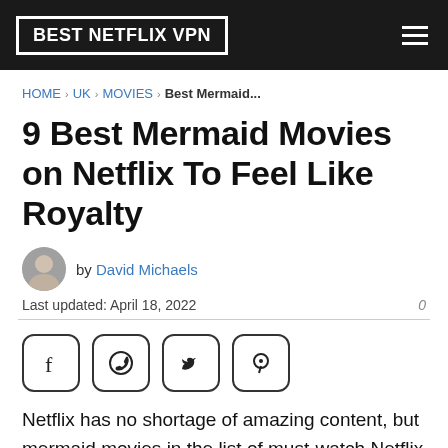BEST NETFLIX VPN
HOME › UK › MOVIES › Best Mermaid...
9 Best Mermaid Movies on Netflix To Feel Like Royalty
by David Michaels
Last updated: April 18, 2022    0
[Figure (infographic): Social share icons: Facebook, WhatsApp, Twitter, Pinterest]
Netflix has no shortage of amazing content, but mermaid movies in the list of must-watch Netflix titles bring an oomph factor to your streaming